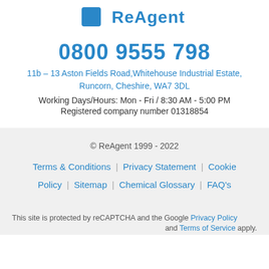[Figure (logo): ReAgent company logo - partial view at top, blue square with text]
0800 9555 798
11b – 13 Aston Fields Road, Whitehouse Industrial Estate, Runcorn, Cheshire, WA7 3DL
Working Days/Hours: Mon - Fri / 8:30 AM - 5:00 PM
Registered company number 01318854
© ReAgent 1999 - 2022
Terms & Conditions | Privacy Statement | Cookie Policy | Sitemap | Chemical Glossary | FAQ's
This site is protected by reCAPTCHA and the Google Privacy Policy and Terms of Service apply.